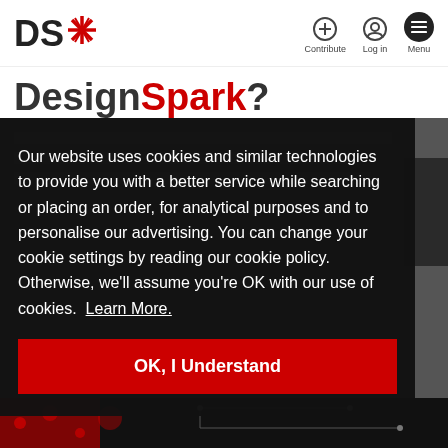DS* | Contribute | Log in | Menu
DesignSpark?
Our website uses cookies and similar technologies to provide you with a better service while searching or placing an order, for analytical purposes and to personalise our advertising. You can change your cookie settings by reading our cookie policy. Otherwise, we'll assume you're OK with our use of cookies. Learn More.
OK, I Understand